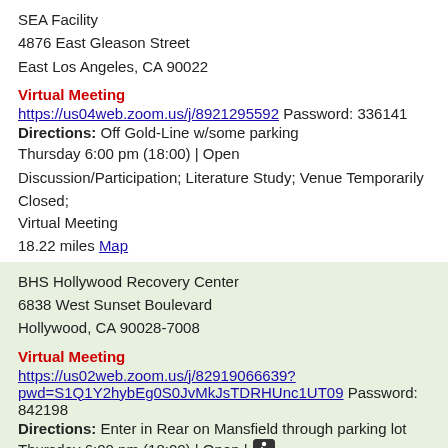SEA Facility
4876 East Gleason Street
East Los Angeles, CA 90022
Virtual Meeting
https://us04web.zoom.us/j/8921295592 Password: 336141
Directions: Off Gold-Line w/some parking
Thursday 6:00 pm (18:00) | Open
Discussion/Participation; Literature Study; Venue Temporarily Closed; Virtual Meeting
18.22 miles Map
BHS Hollywood Recovery Center
6838 West Sunset Boulevard
Hollywood, CA 90028-7008
Virtual Meeting
https://us02web.zoom.us/j/82919066639?pwd=S1Q1Y2hybEg0S0JvMkJsTDRHUnc1UT09 Password: 842198
Directions: Enter in Rear on Mansfield through parking lot
Thursday 6:00 pm (18:00) | Open | [wheelchair]
Discussion/Participation; Venue Temporarily Closed; Virtual Meeting
9.3 miles Map
1324 Wilshire Boulevard, Unit B
Los Angeles, CA 90017-1727